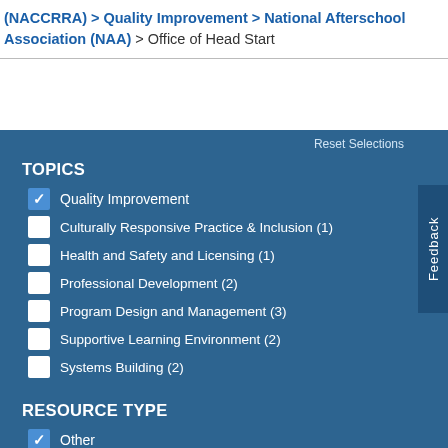(NACCRRA) > Quality Improvement > National Afterschool Association (NAA) > Office of Head Start
TOPICS
Quality Improvement [checked]
Culturally Responsive Practice & Inclusion (1)
Health and Safety and Licensing (1)
Professional Development (2)
Program Design and Management (3)
Supportive Learning Environment (2)
Systems Building (2)
RESOURCE TYPE
Other [checked]
Infographic (1)